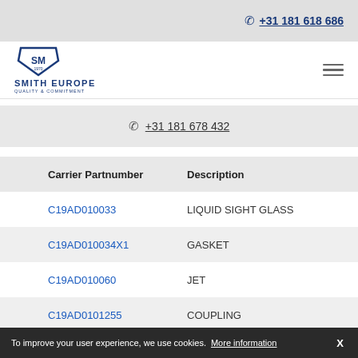+31 181 618 686
[Figure (logo): Smith Europe logo with shield emblem and text SMITH EUROPE QUALITY & COMMITMENT]
+31 181 678 432
| Carrier Partnumber | Description |
| --- | --- |
| C19AD010033 | LIQUID SIGHT GLASS |
| C19AD010034X1 | GASKET |
| C19AD010060 | JET |
| C19AD0101255 | COUPLING |
To improve your user experience, we use cookies. More information X